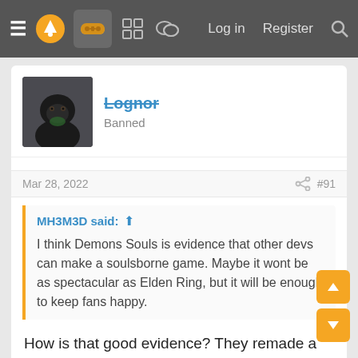≡ [logo] [gamepad icon] [grid icon] [chat icon]   Log in   Register   [search]
Lognor
Banned
Mar 28, 2022   #91
MH3M3D said: ↑

I think Demons Souls is evidence that other devs can make a soulsborne game. Maybe it wont be as spectacular as Elden Ring, but it will be enough to keep fans happy.
How is that good evidence? They remade a game that From made. And still a lot of people hated the changes they made. Not sure that makes the case you think it does.
StateofMajora
Member